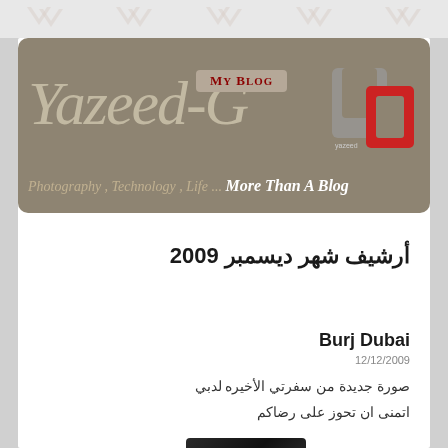[Figure (logo): Blog header banner for Yazeed-G blog with tan/olive background, script text 'Yazeed-G', 'My Blog' label in red, 'UP' logo in red and gray on right, tagline 'Photography, Technology, Life ... More Than A Blog']
أرشيف شهر ديسمبر 2009
Burj Dubai
12/12/2009
صورة جديدة من سفرتي الأخيره لدبي
اتمنى ان تحوز على رضاكم
[Figure (photo): Dark partial photo thumbnail at bottom of page]